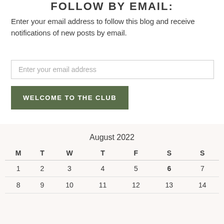FOLLOW BY EMAIL:
Enter your email address to follow this blog and receive notifications of new posts by email.
Enter your email address
WELCOME TO THE CLUB
| M | T | W | T | F | S | S |
| --- | --- | --- | --- | --- | --- | --- |
| 1 | 2 | 3 | 4 | 5 | 6 | 7 |
| 8 | 9 | 10 | 11 | 12 | 13 | 14 |